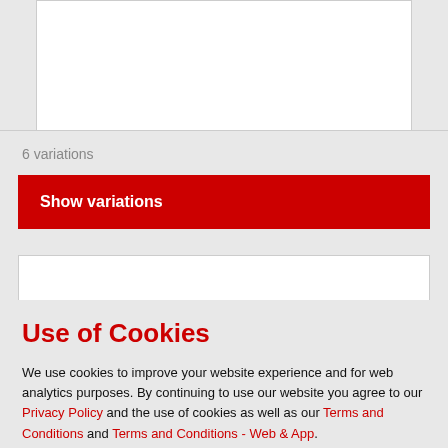6 variations
Show variations
Use of Cookies
We use cookies to improve your website experience and for web analytics purposes. By continuing to use our website you agree to our Privacy Policy and the use of cookies as well as our Terms and Conditions and Terms and Conditions - Web & App.
CLOSE